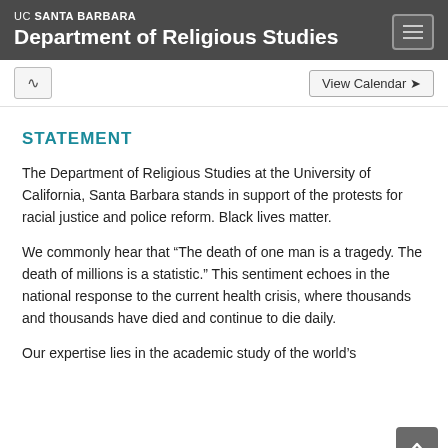UC SANTA BARBARA Department of Religious Studies
STATEMENT
The Department of Religious Studies at the University of California, Santa Barbara stands in support of the protests for racial justice and police reform. Black lives matter.
We commonly hear that “The death of one man is a tragedy. The death of millions is a statistic.” This sentiment echoes in the national response to the current health crisis, where thousands and thousands have died and continue to die daily.
Our expertise lies in the academic study of the world’s